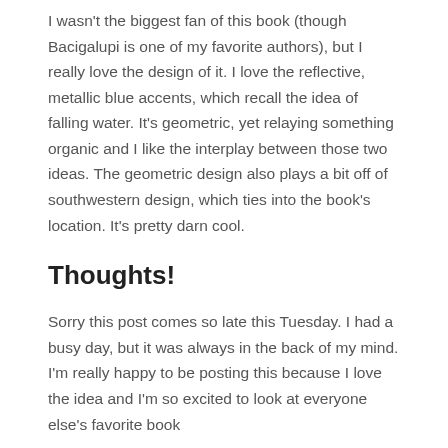I wasn't the biggest fan of this book (though Bacigalupi is one of my favorite authors), but I really love the design of it. I love the reflective, metallic blue accents, which recall the idea of falling water. It's geometric, yet relaying something organic and I like the interplay between those two ideas. The geometric design also plays a bit off of southwestern design, which ties into the book's location. It's pretty darn cool.
Thoughts!
Sorry this post comes so late this Tuesday. I had a busy day, but it was always in the back of my mind. I'm really happy to be posting this because I love the idea and I'm so excited to look at everyone else's favorite book